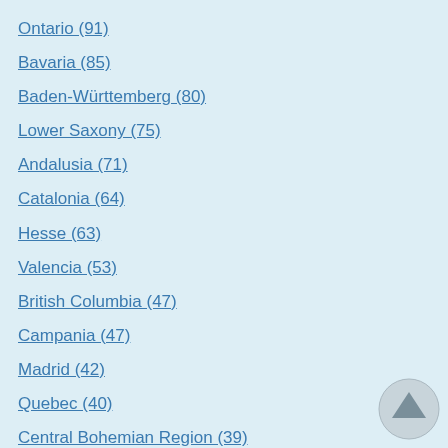Ontario (91)
Bavaria (85)
Baden-Württemberg (80)
Lower Saxony (75)
Andalusia (71)
Catalonia (64)
Hesse (63)
Valencia (53)
British Columbia (47)
Campania (47)
Madrid (42)
Quebec (40)
Central Bohemian Region (39)
Silesian Voivodeship (38)
Alberta (36)
Masovian Voivodeship (33)